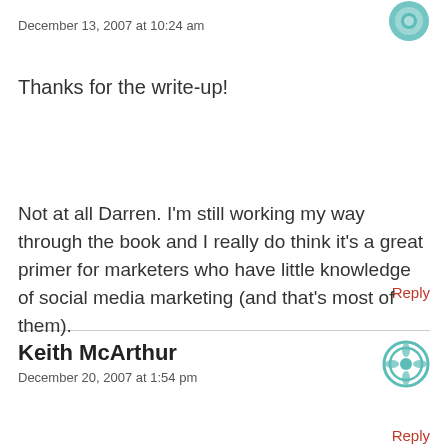December 13, 2007 at 10:24 am
Thanks for the write-up!
Reply
Keith McArthur
December 20, 2007 at 1:54 pm
Not at all Darren. I'm still working my way through the book and I really do think it's a great primer for marketers who have little knowledge of social media marketing (and that's most of them).
Reply